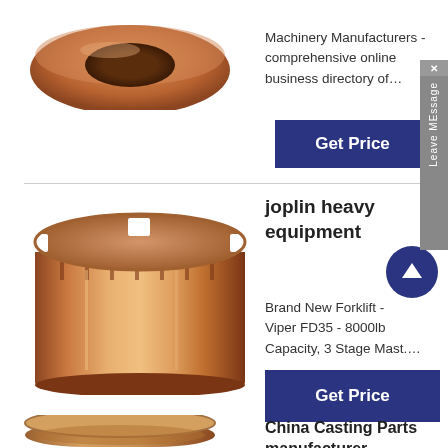[Figure (photo): Bronze/copper ring or bushing component, top portion visible]
Machinery Manufacturers - comprehensive online business directory of…
[Figure (other): Get Price button (dark navy blue)]
[Figure (photo): Bronze/copper cylindrical bushing with vertical ridges on top]
joplin heavy equipment
[Figure (other): Up arrow navigation button (dark navy circle)]
Brand New Forklift - Viper FD35 - 8000lb Capacity, 3 Stage Mast….
[Figure (other): Get Price button (dark navy blue)]
[Figure (photo): Stacked bronze/copper ring components, partially visible]
China Casting Parts manufacturer